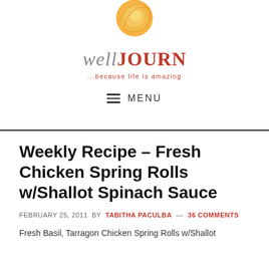[Figure (logo): wellJOURN blog logo with orange swirl circle graphic and red/grey text, tagline '...because life is amazing']
≡ MENU
Weekly Recipe – Fresh Chicken Spring Rolls w/Shallot Spinach Sauce
FEBRUARY 25, 2011 BY TABITHA PACULBA — 36 COMMENTS
Fresh Basil, Tarragon Chicken Spring Rolls w/Shallot